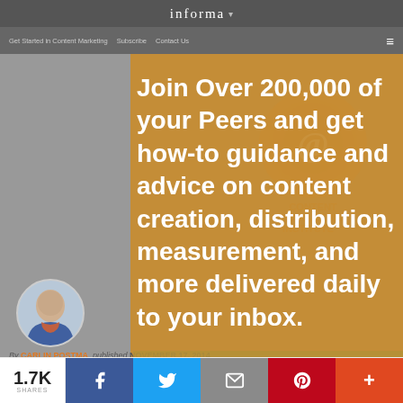informa
Get Started in Content Marketing   Subscribe   Contact Us
[Figure (screenshot): Orange semi-transparent overlay on website hero section with Content Marketing Institute logo watermark in background]
Join Over 200,000 of your Peers and get how-to guidance and advice on content creation, distribution, measurement, and more delivered daily to your inbox.
[Figure (screenshot): Zesty.io advertisement banner: 'Make the switch to headless CMS the easy way' with CTA button]
[Figure (photo): Author profile photo of Carlin Postma - woman in business attire]
By CARLIN POSTMA   published  NOVEMBER 17, 2014
EST READ TIME:  7 MIN
1.7K SHARES